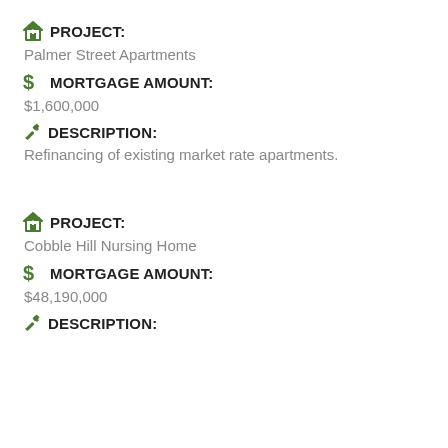PROJECT:
Palmer Street Apartments
MORTGAGE AMOUNT:
$1,600,000
DESCRIPTION:
Refinancing of existing market rate apartments.
PROJECT:
Cobble Hill Nursing Home
MORTGAGE AMOUNT:
$48,190,000
DESCRIPTION: